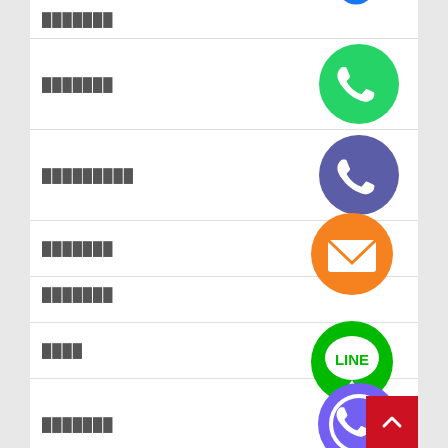███████ [Facebook icon - partial]
███████ [WhatsApp icon]
█████████ [Phone/Call icon]
███████ [Email icon]
███████ [LINE icon]
████ [LINE icon continued]
███████ [Viber icon]
████████ [Close/X icon]
████████